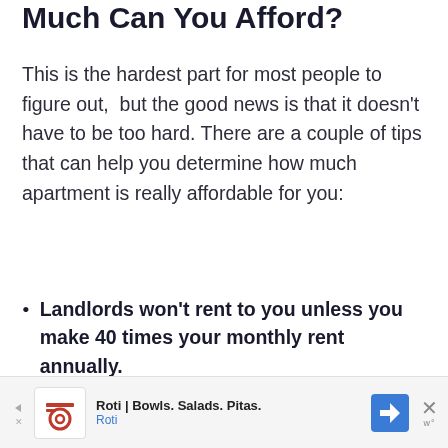Much Can You Afford?
This is the hardest part for most people to figure out,  but the good news is that it doesn't have to be too hard. There are a couple of tips that can help you determine how much apartment is really affordable for you:
Landlords won't rent to you unless you make 40 times your monthly rent annually. This is considered to be the bare
[Figure (infographic): Advertisement banner for Roti | Bowls. Salads. Pitas. with logo, navigation icon, and close button]